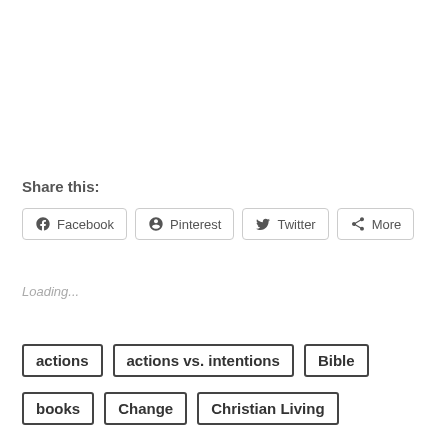Share this:
Facebook  Pinterest  Twitter  More
Loading...
actions
actions vs. intentions
Bible
books
Change
Christian Living